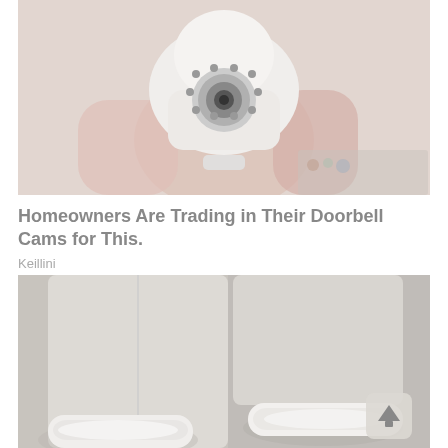[Figure (photo): A person holding a white dome-shaped security camera with infrared LEDs, viewed from below against a light background.]
Homeowners Are Trading in Their Doorbell Cams for This.
Keillini
[Figure (photo): Close-up of a person's lower legs and feet wearing white slip-on shoes/sneakers, standing on a light-colored floor.]